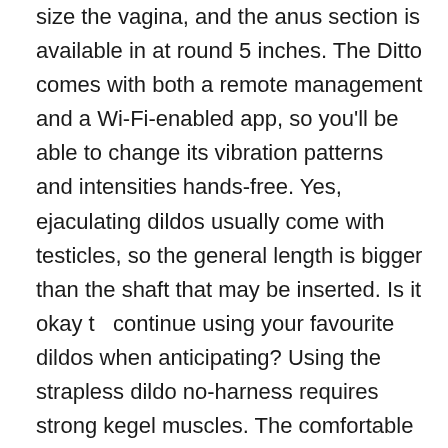size the vagina, and the anus section is available in at round 5 inches. The Ditto comes with both a remote management and a Wi-Fi-enabled app, so you'll be able to change its vibration patterns and intensities hands-free. Yes, ejaculating dildos usually come with testicles, so the general length is bigger than the shaft that may be inserted. Is it okay t  continue using your favourite dildos when anticipating? Using the strapless dildo no-harness requires strong kegel muscles. The comfortable nylon straps easily regulate to fit most sizes whereas protecting the dildo in place –  ven as the action heats up. So it's price realizing the sizes that can really feel good in the vagina. Then you are feeling you may have reached this level, wrap the